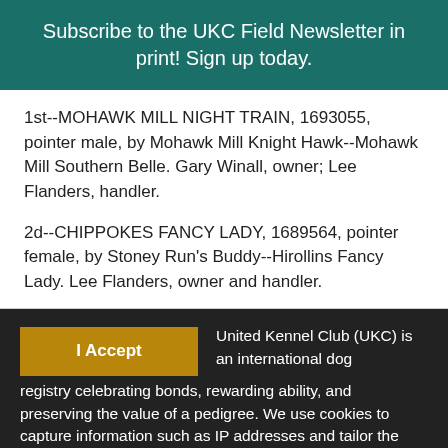Subscribe to the UKC Field Newsletter in print! Sign up today.
1st--MOHAWK MILL NIGHT TRAIN, 1693055, pointer male, by Mohawk Mill Knight Hawk--Mohawk Mill Southern Belle. Gary Winall, owner; Lee Flanders, handler.
2d--CHIPPOKES FANCY LADY, 1689564, pointer female, by Stoney Run's Buddy--Hirollins Fancy Lady. Lee Flanders, owner and handler.
I Accept  United Kennel Club (UKC) is an international dog registry celebrating bonds, rewarding ability, and preserving the value of a pedigree. We use cookies to capture information such as IP addresses and tailor the website to our clients' needs. We also use this information to target and measure promotional material. Please see our Privacy Policy for more information.